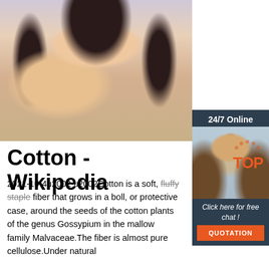[Figure (photo): Close-up photo of a young woman from chin/neck level wearing dangling earrings, against a light background]
[Figure (infographic): Sidebar advertisement with '24/7 Online' header, photo of smiling customer service woman with headset, 'Click here for free chat!' text, and orange QUOTATION button]
[Figure (logo): Orange and red TOP badge/logo in bottom right area]
Cotton - Wikipedia
2021-10-4u2002·u2002Cotton is a soft, fluffy staple fiber that grows in a boll, or protective case, around the seeds of the cotton plants of the genus Gossypium in the mallow family Malvaceae.The fiber is almost pure cellulose.Under natural conditions, the cotton bolls will increase the dispersal of the seeds.